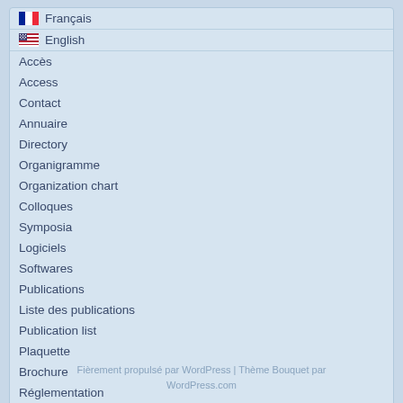🇫🇷 Français
🇺🇸 English
Accès
Access
Contact
Annuaire
Directory
Organigramme
Organization chart
Colloques
Symposia
Logiciels
Softwares
Publications
Liste des publications
Publication list
Plaquette
Brochure
Réglementation
Fièrement propulsé par WordPress | Thème Bouquet par WordPress.com